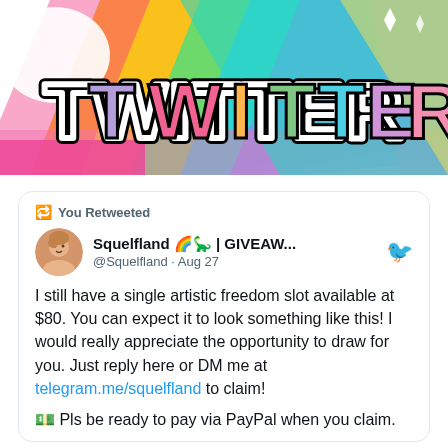[Figure (illustration): Colorful rainbow-striped Twitter banner with the word TWITTER in large bubble letters with rainbow/multicolor fill and black outline, on a pastel rainbow background with sparkle diamond accents]
You Retweeted
Squelfland 🌈🦕 | GIVEAW... @Squelfland · Aug 27
I still have a single artistic freedom slot available at $80. You can expect it to look something like this! I would really appreciate the opportunity to draw for you. Just reply here or DM me at telegram.me/squelfland to claim!
💵 Pls be ready to pay via PayPal when you claim.